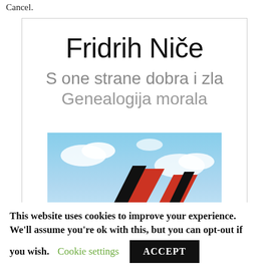Cancel.
[Figure (illustration): Book cover card showing author name 'Fridrih Niče' in large black serif font, subtitle lines 'S one strane dobra i zla' and 'Genealogija morala' in grey, and a partial photo of a sky with red/black geometric shapes at the bottom.]
This website uses cookies to improve your experience. We'll assume you're ok with this, but you can opt-out if you wish. Cookie settings ACCEPT